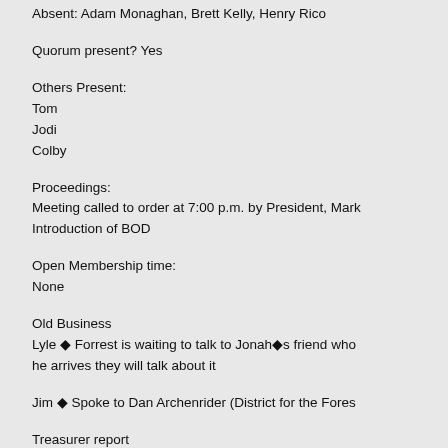Absent: Adam Monaghan, Brett Kelly, Henry Rico
Quorum present? Yes
Others Present:
Tom
Jodi
Colby
Proceedings:
Meeting called to order at 7:00 p.m. by President, Mark
Introduction of BOD
Open Membership time:
None
Old Business
Lyle ◆ Forrest is waiting to talk to Jonah◆s friend who
he arrives they will talk about it
Jim ◆ Spoke to Dan Archenrider (District for the Fores
Treasurer report
Nicole funds are same as last meeting.